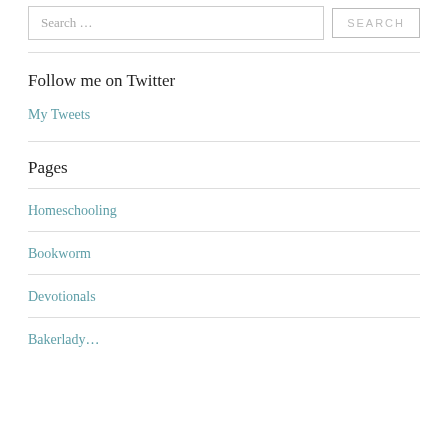Search …
Follow me on Twitter
My Tweets
Pages
Homeschooling
Bookworm
Devotionals
Bakerlady…